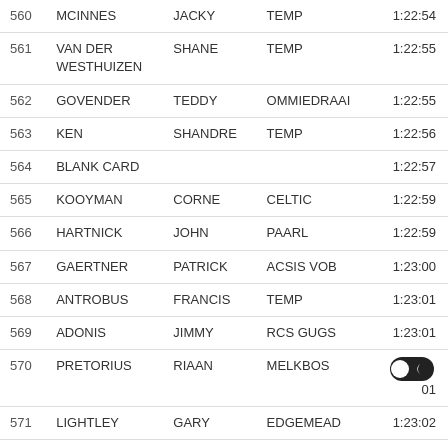| # | Surname | First | Club | Time |
| --- | --- | --- | --- | --- |
| 560 | MCINNES | JACKY | TEMP | 1:22:54 |
| 561 | VAN DER WESTHUIZEN | SHANE | TEMP | 1:22:55 |
| 562 | GOVENDER | TEDDY | OMMIEDRAAI | 1:22:55 |
| 563 | KEN | SHANDRE | TEMP | 1:22:56 |
| 564 | BLANK CARD |  |  | 1:22:57 |
| 565 | KOOYMAN | CORNE | CELTIC | 1:22:59 |
| 566 | HARTNICK | JOHN | PAARL | 1:22:59 |
| 567 | GAERTNER | PATRICK | ACSIS VOB | 1:23:00 |
| 568 | ANTROBUS | FRANCIS | TEMP | 1:23:01 |
| 569 | ADONIS | JIMMY | RCS GUGS | 1:23:01 |
| 570 | PRETORIUS | RIAAN | MELKBOS | 1:23:01 |
| 571 | LIGHTLEY | GARY | EDGEMEAD | 1:23:02 |